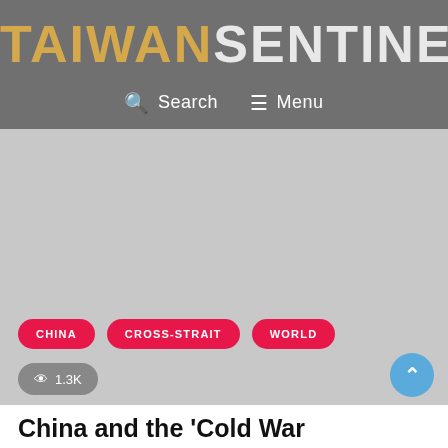TAIWANSENTINEL
Search   Menu
[Figure (other): Large grey placeholder image area for article hero image]
CHINA
CROSS-STRAIT
WORLD
1.3K views
China and the 'Cold War...